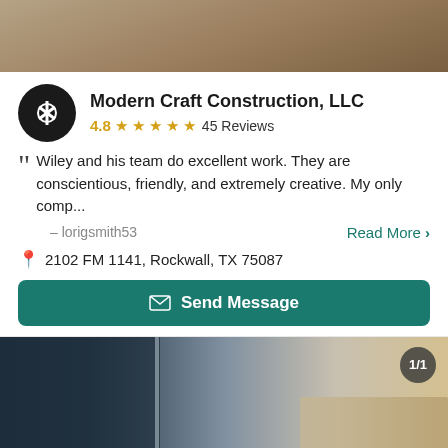[Figure (photo): Top banner photo showing outdoor/ground scene with muted earth tones]
Modern Craft Construction, LLC
4.8 ★★★★★ 45 Reviews
Wiley and his team do excellent work. They are conscientious, friendly, and extremely creative. My only comp...
– lorigsmith53
Read More >
2102 FM 1141, Rockwall, TX 75087
Send Message
[Figure (photo): Interior photo showing modern home with large windows and stone wall, with 1/1 counter badge]